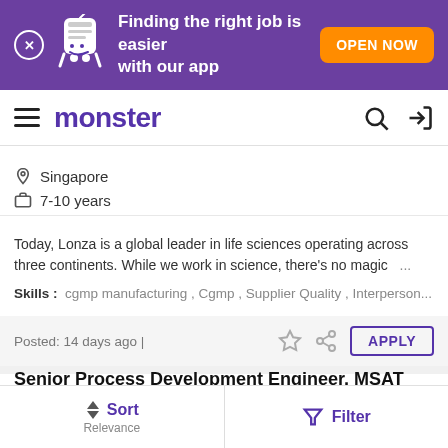[Figure (screenshot): Purple promotional banner with mascot: 'Finding the right job is easier with our app' and orange OPEN NOW button]
monster
Singapore
7-10 years
Today, Lonza is a global leader in life sciences operating across three continents. While we work in science, there's no magic ...
Skills: cgmp manufacturing , Cgmp , Supplier Quality , Interperson...
Posted: 14 days ago |
Senior Process Development Engineer, MSAT
Lonza Biologics Tuas Pte. Ltd.
Singapore
Sort Relevance | Filter